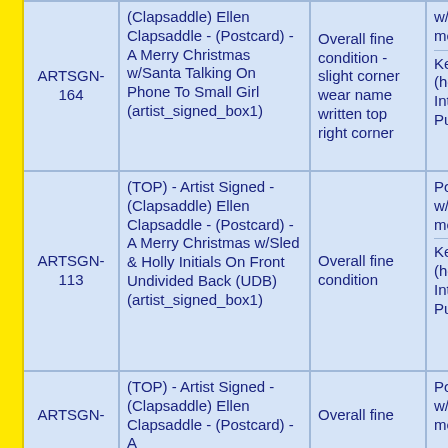| ID | Description | Condition | Notes |
| --- | --- | --- | --- |
| ARTSGN-164 | (TOP) - Artist Signed - (Clapsaddle) Ellen Clapsaddle - (Postcard) - A Merry Christmas w/Santa Talking On Phone To Small Girl (artist_signed_box1) | Overall fine condition - slight corner wear name written top right corner | Postally u w/address messag
---
Keywor (holiday Internatin Pub., |
| ARTSGN-113 | (TOP) - Artist Signed - (Clapsaddle) Ellen Clapsaddle - (Postcard) - A Merry Christmas w/Sled & Holly Initials On Front Undivided Back (UDB) (artist_signed_box1) | Overall fine condition | Postally u w/address messag
---
Keywor (holiday Internatin Pub., 513 |
| ARTSGN- | (TOP) - Artist Signed - (Clapsaddle) Ellen Clapsaddle - (Postcard) - A | Overall fine | Postally u w/address messag |